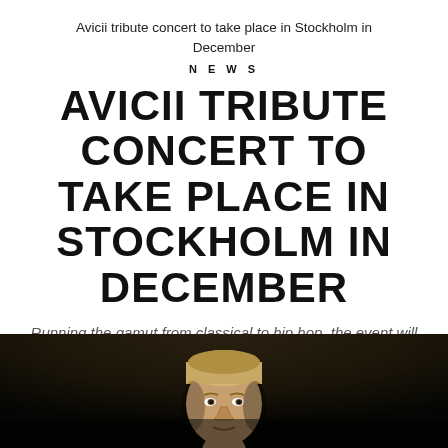Avicii tribute concert to take place in Stockholm in December
NEWS
AVICII TRIBUTE CONCERT TO TAKE PLACE IN STOCKHOLM IN DECEMBER
Running the gamut from classical to hip hop, the event will be held at the recently renamed Avicii Arena
[Figure (photo): Black and white photo of Avicii (Tim Bergling), showing his face and upper body against a dark background]